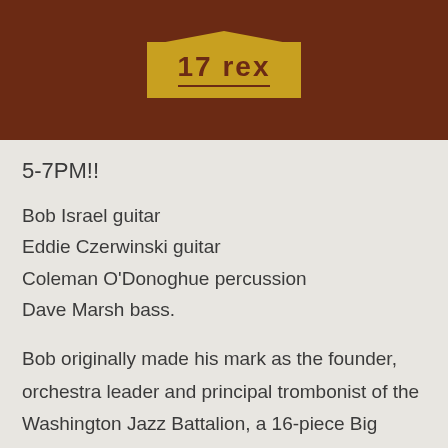[Figure (logo): Logo badge on dark brown header bar with gold/yellow ribbon shape and stylized text]
5-7PM!!
Bob Israel guitar
Eddie Czerwinski guitar
Coleman O'Donoghue percussion
Dave Marsh bass.
Bob originally made his mark as the founder, orchestra leader and principal trombonist of the Washington Jazz Battalion, a 16-piece Big Band, formed in 1976. The band enjoyed popularity and